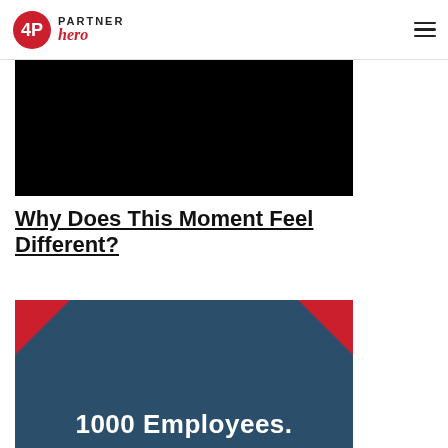PartnerHero
[Figure (photo): Black video/image placeholder rectangle]
Why Does This Moment Feel Different?
[Figure (photo): Dark teal textured background with red corner accents and white text reading '1000 Employees.']